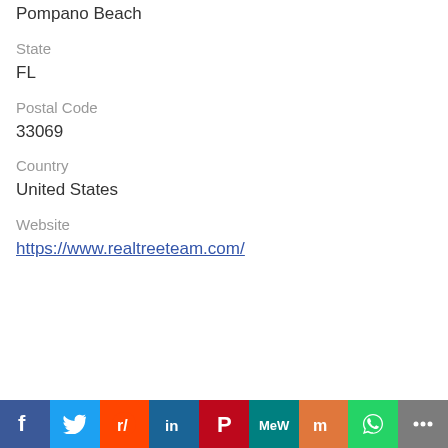Pompano Beach
State
FL
Postal Code
33069
Country
United States
Website
https://www.realtreeteam.com/
[Figure (infographic): Social media sharing bar with icons for Facebook, Twitter, Reddit, LinkedIn, Pinterest, MeWe, Mix, WhatsApp, and More sharing options]